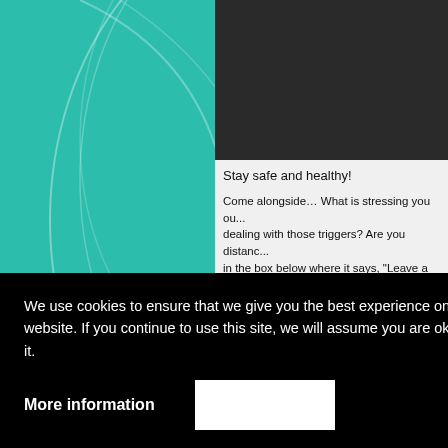[Figure (illustration): Teal background panel with decorative white swirl/arc lines]
[Figure (photo): Dark/black image block in the upper right content area]
Stay safe and healthy!
Come alongside… What is stressing you ou... dealing with those triggers? Are you distanc... in the box below where it says, "Leave a Re... anonymously.
Questions i... 1 | 2 |...
We use cookies to ensure that we give you the best experience on our website. If you continue to use this site, we will assume you are okay with it.
More information